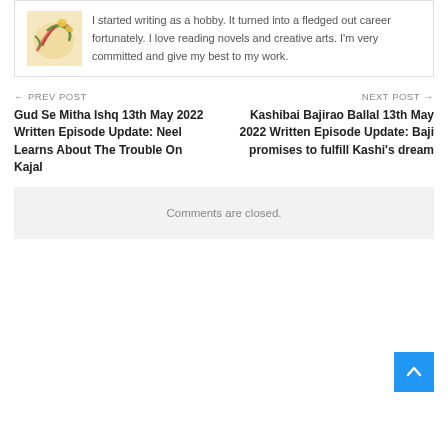I started writing as a hobby. It turned into a fledged out career fortunately. I love reading novels and creative arts. I'm very committed and give my best to my work.
← PREV POST
Gud Se Mitha Ishq 13th May 2022 Written Episode Update: Neel Learns About The Trouble On Kajal
NEXT POST →
Kashibai Bajirao Ballal 13th May 2022 Written Episode Update: Baji promises to fulfill Kashi's dream
Comments are closed.